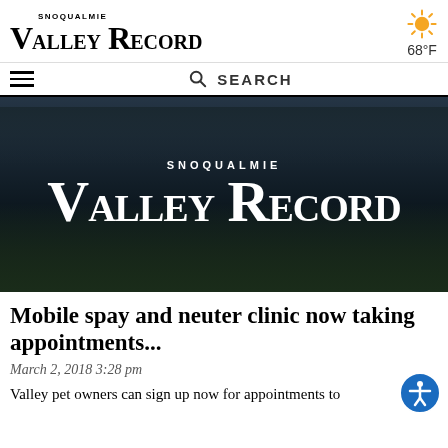SNOQUALMIE VALLEY RECORD | 68°F
[Figure (screenshot): Snoqualmie Valley Record newspaper website header with navigation bar showing hamburger menu and search bar]
[Figure (photo): Aerial photo of Snoqualmie valley area at dusk/night with the Snoqualmie Valley Record logo overlaid in white text on dark background]
Mobile spay and neuter clinic now taking appointments...
March 2, 2018 3:28 pm
Valley pet owners can sign up now for appointments to